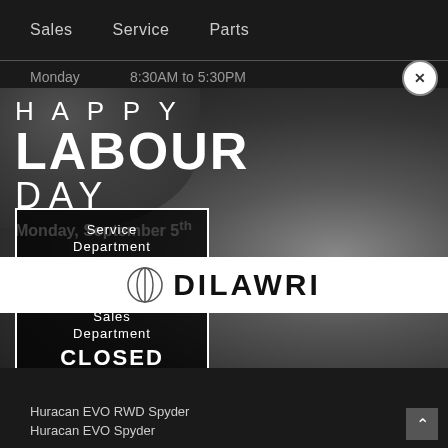Sales   Service   Parts
Monday   8:30AM to 5:30PM
[Figure (photo): Happy Labour Day promotional modal with a mechanic in overalls holding wrenches against a car workshop background. Text overlay reads: HAPPY LABOUR DAY, Monday, September 5th. Box shows Service Department CLOSED and Sales Department CLOSED. Dilawri logo at bottom.]
Huracan EVO RWD Spyder
Huracan EVO Spyder